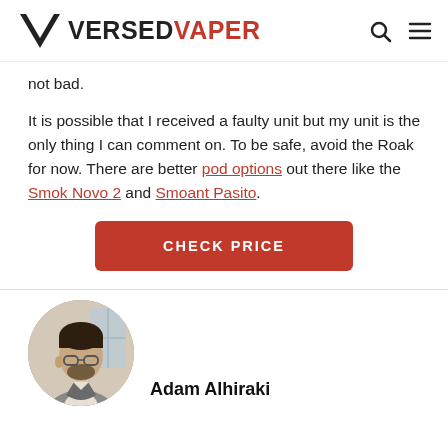VERSED VAPER
not bad.
It is possible that I received a faulty unit but my unit is the only thing I can comment on. To be safe, avoid the Roak for now. There are better pod options out there like the Smok Novo 2 and Smoant Pasito.
CHECK PRICE
[Figure (photo): Circular profile photo of Adam Alhiraki, a man in a grey suit looking to the side]
Adam Alhiraki